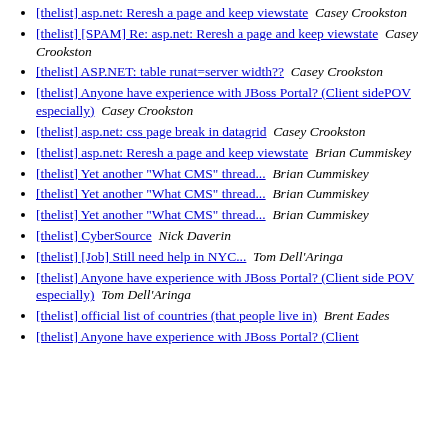[thelist] asp.net: Reresh a page and keep viewstate  Casey Crookston
[thelist] [SPAM] Re: asp.net: Reresh a page and keep viewstate  Casey Crookston
[thelist] ASP.NET: table runat=server width??  Casey Crookston
[thelist] Anyone have experience with JBoss Portal? (Client sidePOV especially)  Casey Crookston
[thelist] asp.net: css page break in datagrid  Casey Crookston
[thelist] asp.net: Reresh a page and keep viewstate  Brian Cummiskey
[thelist] Yet another "What CMS" thread...  Brian Cummiskey
[thelist] Yet another "What CMS" thread...  Brian Cummiskey
[thelist] Yet another "What CMS" thread...  Brian Cummiskey
[thelist] CyberSource  Nick Daverin
[thelist] [Job] Still need help in NYC...  Tom Dell'Aringa
[thelist] Anyone have experience with JBoss Portal? (Client side POV especially)  Tom Dell'Aringa
[thelist] official list of countries (that people live in)  Brent Eades
[thelist] Anyone have experience with JBoss Portal? (Client side...